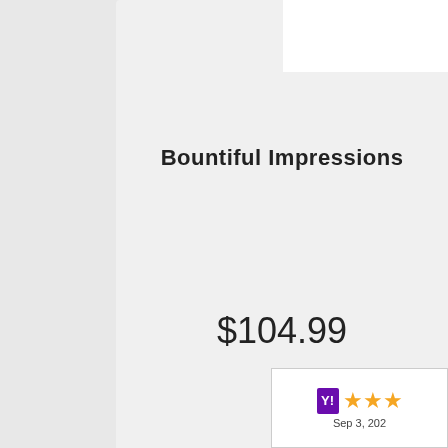[Figure (photo): Partial view of a plant/floral product image at the top of the page, cropped]
Bountiful Impressions
$104.99
[Figure (photo): Pink kalanchoe plant in a bright pink pot, fully bloomed with clusters of small pink flowers and green leaves]
[Figure (other): Rating badge with Y! logo and 3 orange stars, dated Sep 3, 202...]